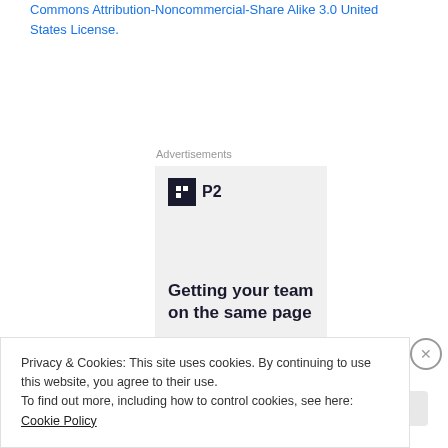Shely: Single and Happy by Shely is licensed under a Creative Commons Attribution-Noncommercial-Share Alike 3.0 United States License.
Advertisements
[Figure (logo): P2 logo with black square icon and bold 'P2' text, followed by advertisement text 'Getting your team on the same page']
Privacy & Cookies: This site uses cookies. By continuing to use this website, you agree to their use. To find out more, including how to control cookies, see here: Cookie Policy
Close and accept